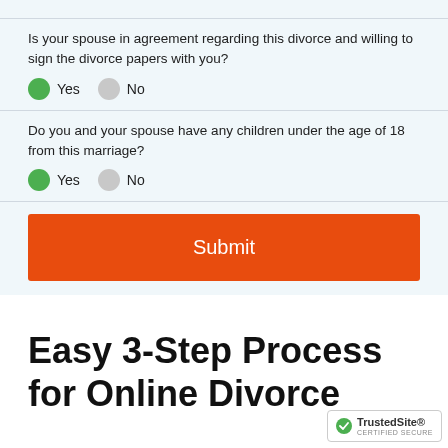Is your spouse in agreement regarding this divorce and willing to sign the divorce papers with you?
Yes  No  (radio buttons, Yes selected)
Do you and your spouse have any children under the age of 18 from this marriage?
Yes  No  (radio buttons, Yes selected)
Submit
Easy 3-Step Process for Online Divorce
[Figure (logo): TrustedSite certified secure badge with green checkmark]